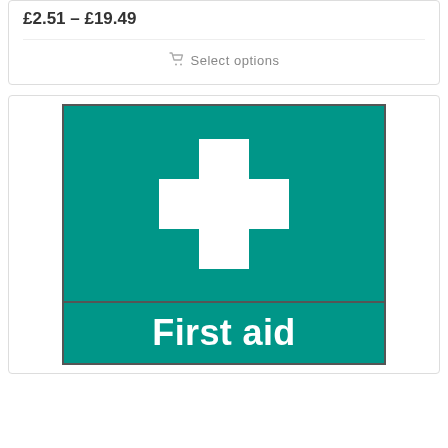£2.51 – £19.49
Select options
[Figure (photo): First aid sign with white cross on green background, with 'First aid' text visible at bottom on green background]